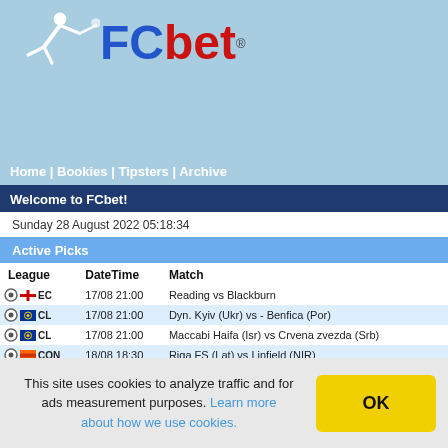[Figure (logo): FCbet logo with soccer player silhouette and FCbet text]
Home | Bookies | Tipsters | Archive
Welcome to FCbet!
Sunday 28 August 2022 05:18:34
Active Picks
| League | DateTime | Match |
| --- | --- | --- |
| EC | 17/08 21:00 | Reading vs Blackburn |
| CL | 17/08 21:00 | Dyn. Kyiv (Ukr) vs - Benfica (Por) |
| CL | 17/08 21:00 | Maccabi Haifa (Isr) vs Crvena zvezda (Srb) |
| CON | 18/08 18:30 | Riga FS (Lat) vs Linfield (NIR) |
| EL | 18/08 18:30 | Ferencvaros (Hun) vs Shamrock Rovers (Irl) |
| EL | 18/08 21:30 | KAA Gent vs Omonia Nicosia |
| SL | 20/08 11:30 | Lion City vs Tanjong |
| EC | 20/08 16:00 | Birmingham vs Wigan |
This site uses cookies to analyze traffic and for ads measurement purposes. Learn more about how we use cookies.